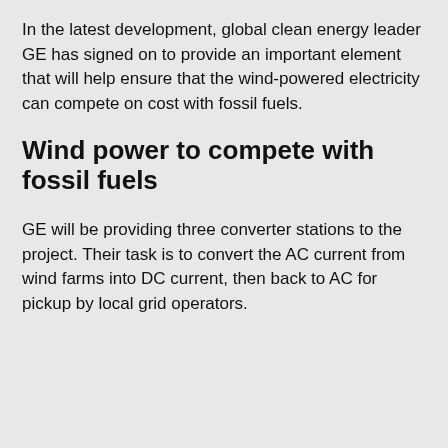In the latest development, global clean energy leader GE has signed on to provide an important element that will help ensure that the wind-powered electricity can compete on cost with fossil fuels.
Wind power to compete with fossil fuels
GE will be providing three converter stations to the project. Their task is to convert the AC current from wind farms into DC current, then back to AC for pickup by local grid operators.